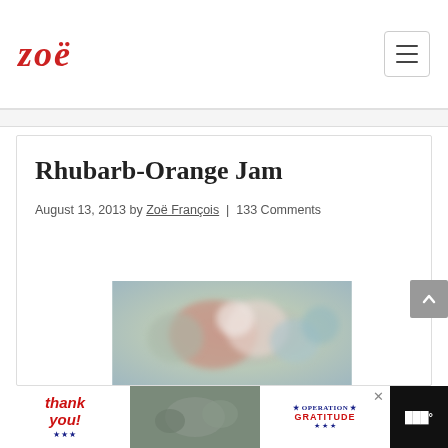zoë
Rhubarb-Orange Jam
August 13, 2013 by Zoë François | 133 Comments
[Figure (photo): Blurred photo of rhubarb-orange jam jars]
Thank you! Operation Gratitude advertisement banner